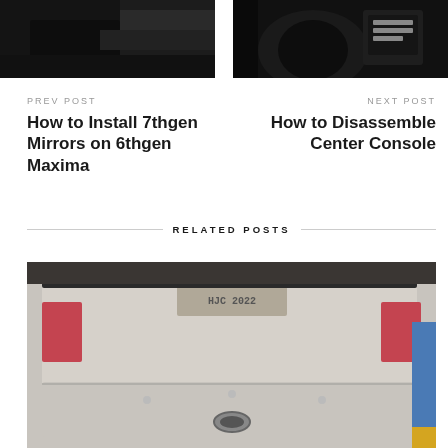[Figure (photo): Car door/side panel photo, dark background]
[Figure (photo): Car interior with steering wheel and dashboard, dark photo]
PREV POST
NEXT POST
How to Install 7thgen Mirrors on 6thgen Maxima
How to Disassemble Center Console
RELATED POSTS
[Figure (photo): Rear view of a white/beige car showing license plate and exhaust, in a garage]